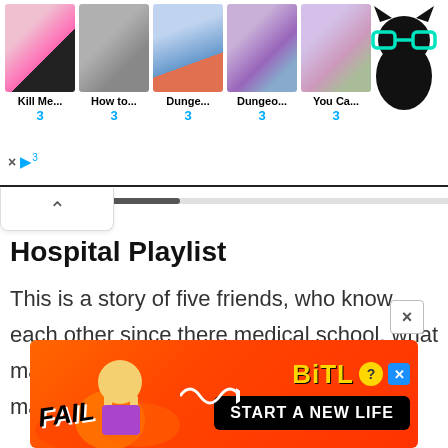[Figure (screenshot): Top manga browsing banner with 5 thumbnail images and cat logo. Thumbnails labeled: Kill Me..., How to..., Dunge..., Dungeo..., You Ca... each with rating 3. Cat logo with teal glasses on right.]
Hospital Playlist
This is a story of five friends, who know each other since there medical school. what makes the story different is besides there main career as a doctor they love
[Figure (screenshot): BitLife advertisement banner at bottom. Shows FAIL text with cartoon character on orange/red background, with BitLife logo and START A NEW LIFE text.]